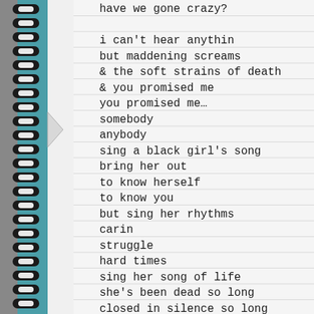[Figure (illustration): Spiral-bound notebook with teal/blue spiral binding rings on the left side, lined notebook paper background]
have we gone crazy?

i can't hear anythin
but maddening screams
& the soft strains of death
& you promised me
you promised me…
somebody
anybody
sing a black girl's song
bring her out
to know herself
to know you
but sing her rhythms
carin
struggle
hard times
sing her song of life
she's been dead so long
closed in silence so long
she doesn't know the sound
of her own voice
her infinite beauty